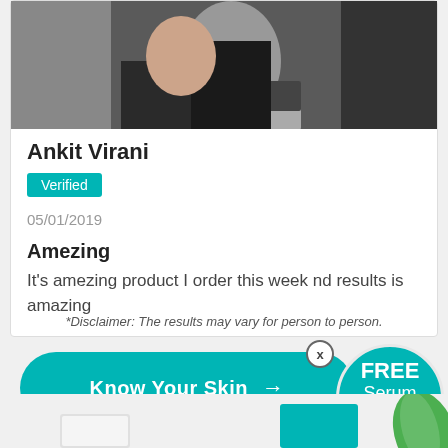[Figure (photo): Top portion of a product review card showing a partial photo of a person wearing dark clothing]
Ankit Virani
Verified
05/01/2019
Amezing
It's amezing product I order this week nd results is amazing
*Disclaimer: The results may vary for person to person.
[Figure (infographic): Teal rounded button with text 'Know Your Skin' and arrow, alongside a circular badge showing 'FREE Serum Worth Rs.699/-' and a close X button]
[Figure (photo): Bottom partial view of product packaging items on light background with a teal rectangle and green leaf]